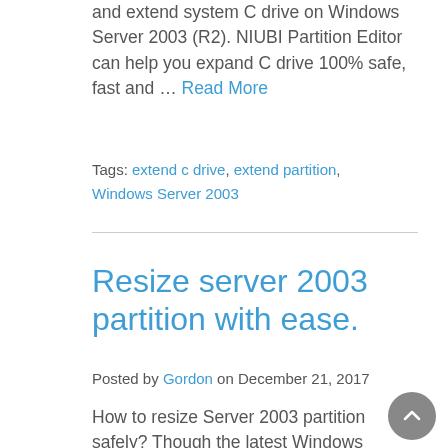and extend system C drive on Windows Server 2003 (R2). NIUBI Partition Editor can help you expand C drive 100% safe, fast and … Read More
Tags: extend c drive, extend partition, Windows Server 2003
Resize server 2003 partition with ease.
Posted by Gordon on December 21, 2017
How to resize Server 2003 partition safely? Though the latest Windows Server 2016 has been released for a